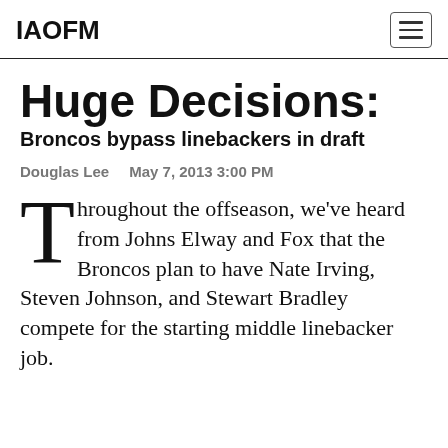IAOFM
Huge Decisions: Broncos bypass linebackers in draft
Douglas Lee   May 7, 2013 3:00 PM
Throughout the offseason, we've heard from Johns Elway and Fox that the Broncos plan to have Nate Irving, Steven Johnson, and Stewart Bradley compete for the starting middle linebacker job.